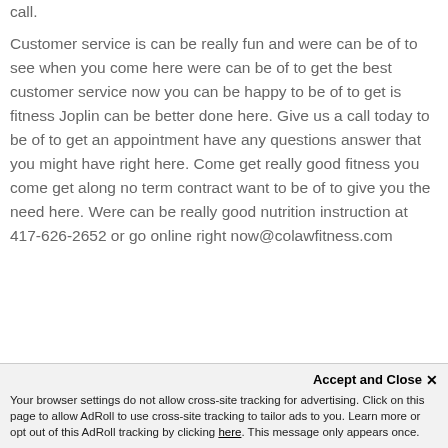call.
Customer service is can be really fun and were can be of to see when you come here were can be of to get the best customer service now you can be happy to be of to get is fitness Joplin can be better done here. Give us a call today to be of to get an appointment have any questions answer that you might have right here. Come get really good fitness you come get along no term contract want to be of to give you the need here. Were can be really good nutrition instruction at 417-626-2652 or go online right now@colawfitness.com
Accept and Close ✕
Your browser settings do not allow cross-site tracking for advertising. Click on this page to allow AdRoll to use cross-site tracking to tailor ads to you. Learn more or opt out of this AdRoll tracking by clicking here. This message only appears once.